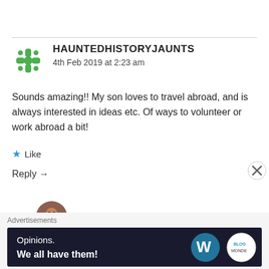HAUNTEDHISTORYJAUNTS
4th Feb 2019 at 2:23 am
Sounds amazing!! My son loves to travel abroad, and is always interested in ideas etc. Of ways to volunteer or work abroad a bit!
Like
Reply →
LOVESHETRAVELS
Advertisements
Opinions. We all have them!